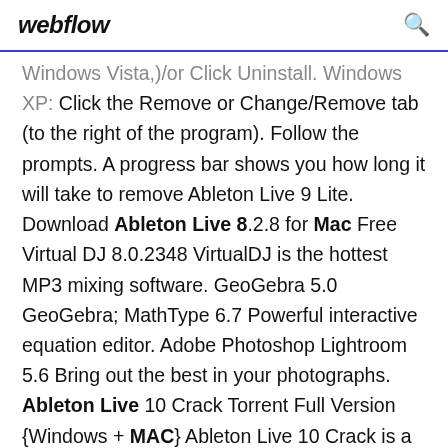webflow
Windows Vista,)/or Click Uninstall. Windows XP: Click the Remove or Change/Remove tab (to the right of the program). Follow the prompts. A progress bar shows you how long it will take to remove Ableton Live 9 Lite. Download Ableton Live 8.2.8 for Mac Free Virtual DJ 8.0.2348 VirtualDJ is the hottest MP3 mixing software. GeoGebra 5.0 GeoGebra; MathType 6.7 Powerful interactive equation editor. Adobe Photoshop Lightroom 5.6 Bring out the best in your photographs. Ableton Live 10 Crack Torrent Full Version {Windows + MAC} Ableton Live 10 Crack is a program that enables you to make, create and perform unrecorded music. Subsequently, is described by a natural;